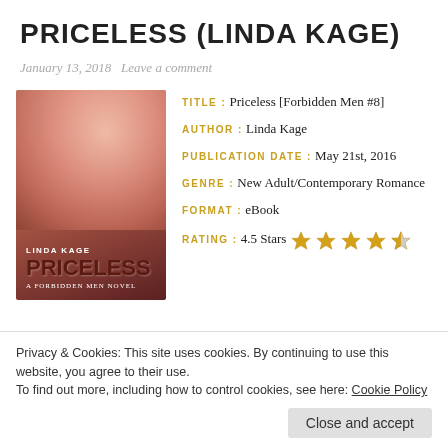PRICELESS (LINDA KAGE)
January 13, 2018   Leave a comment
[Figure (illustration): Book cover for Priceless by Linda Kage, a Forbidden Men Novel. Shows a close-up of two people about to kiss with warm reddish tones. Text on cover reads LINDA KAGE, PRICELESS, A FORBIDDEN MEN NOVEL.]
TITLE: Priceless [Forbidden Men #8]
AUTHOR: Linda Kage
PUBLICATION DATE: May 21st, 2016
GENRE: New Adult/Contemporary Romance
FORMAT: eBook
RATING: 4.5 Stars ★★★★½
Privacy & Cookies: This site uses cookies. By continuing to use this website, you agree to their use.
To find out more, including how to control cookies, see here: Cookie Policy
Close and accept